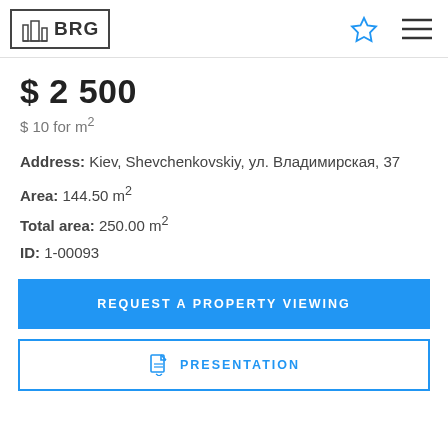BRG
$ 2 500
$ 10 for m²
Address: Kiev, Shevchenkovskiy, ул. Владимирская, 37
Area: 144.50 m²
Total area: 250.00 m²
ID: 1-00093
REQUEST A PROPERTY VIEWING
PRESENTATION